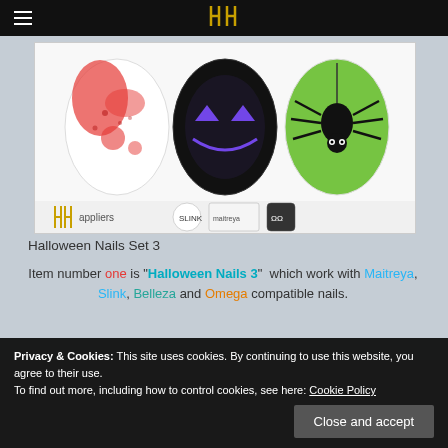Navigation bar with hamburger menu and logo
[Figure (illustration): Product image showing three Halloween nail designs: bloody red/white design, glowing jack-o-lantern face on black, and green nail with black spider. Bottom shows 'ENTICE appliers' logo and compatibility icons for Slink, maitreya, and Omega.]
Halloween Nails Set 3
Item number one is "Halloween Nails 3" which work with Maitreya, Slink, Belleza and Omega compatible nails.
Privacy & Cookies: This site uses cookies. By continuing to use this website, you agree to their use.
To find out more, including how to control cookies, see here: Cookie Policy